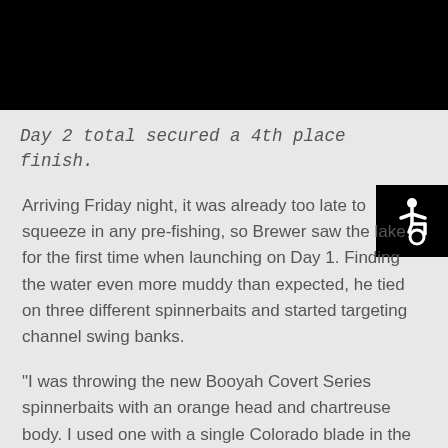Day 2 total secured a 4th place finish.
Arriving Friday night, it was already too late to squeeze in any pre-fishing, so Brewer saw the lake for the first time when launching on Day 1. Finding the water even more muddy than expected, he tied on three different spinnerbaits and started targeting channel swing banks.
“I was throwing the new Booyah Covert Series spinnerbaits with an orange head and chartreuse body. I used one with a single Colorado blade in the morning, followed by a double Colorado blade once the water warmed up a bit, and a willow blade with a Colorado kicker later in the afternoon. I had to tick them off rocks in six- to seven-feet of water to make the fish react,” revealed Brewer. “I only managed five